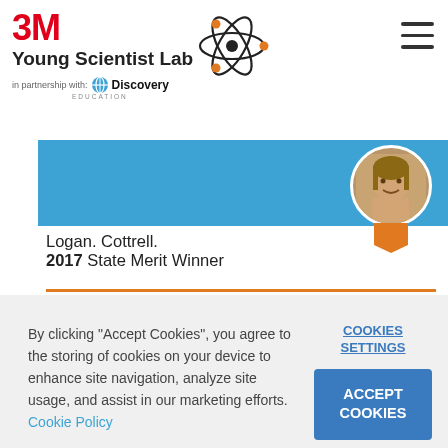3M Young Scientist Lab in partnership with Discovery Education
[Figure (logo): Atom logo with orbiting electrons in black and orange]
Logan. Cottrell. 2017 State Merit Winner
[Figure (photo): Circular profile photo of Logan Cottrell with orange ribbon badge below]
By clicking "Accept Cookies", you agree to the storing of cookies on your device to enhance site navigation, analyze site usage, and assist in our marketing efforts. Cookie Policy
COOKIES SETTINGS
ACCEPT COOKIES